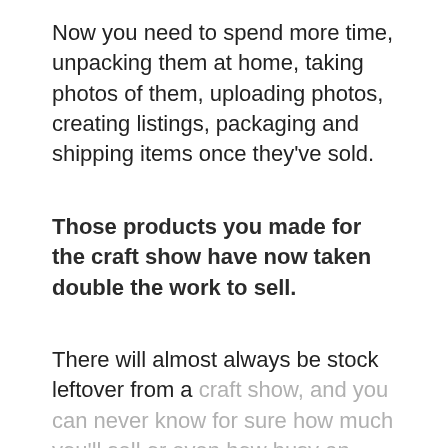Now you need to spend more time, unpacking them at home, taking photos of them, uploading photos, creating listings, packaging and shipping items once they've sold.
Those products you made for the craft show have now taken double the work to sell.
There will almost always be stock leftover from a craft show, and you can never know for sure how much you'll sell or even how busy an event will